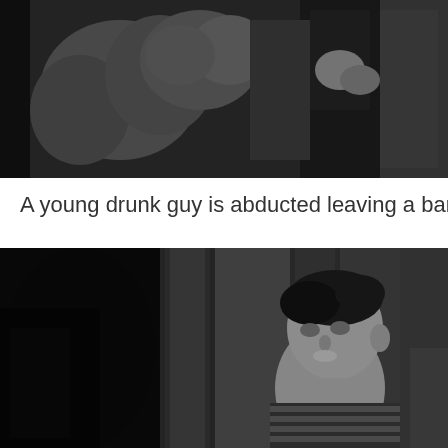[Figure (photo): Black and white still from a film showing figures near flowers or decorative elements, one person appears to be in formal attire]
A young drunk guy is abducted leaving a bar…
[Figure (photo): Black and white film still showing a young man in a striped shirt, viewed from the side, with dark shadowy figure in the foreground and architectural columns in the background]